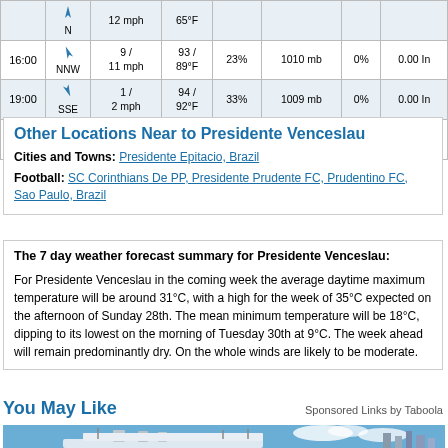| Time | Dir | Speed | Temp | Humidity | Pressure | Precip % | Precip In |
| --- | --- | --- | --- | --- | --- | --- | --- |
|  | N | 12 mph | 65°F |  |  |  |  |
| 16:00 | NNW | 9 / 11 mph | 93 / 89°F | 23% | 1010 mb | 0% | 0.00 In |
| 19:00 | SSE | 1 / 2 mph | 94 / 92°F | 33% | 1009 mb | 0% | 0.00 In |
| 22:00 | SSE | 4 / 7 mph | 84 / 83°F | 35% | 1012 mb | 1% | 0.00 In |
Other Locations Near to Presidente Venceslau
Cities and Towns: Presidente Epitacio, Brazil
Football: SC Corinthians De PP, Presidente Prudente FC, Prudentino FC, Sao Paulo, Brazil
The 7 day weather forecast summary for Presidente Venceslau:

For Presidente Venceslau in the coming week the average daytime maximum temperature will be around 31°C, with a high for the week of 35°C expected on the afternoon of Sunday 28th. The mean minimum temperature will be 18°C, dipping to its lowest on the morning of Tuesday 30th at 9°C. The week ahead will remain predominantly dry. On the whole winds are likely to be moderate.
You May Like
Sponsored Links by Taboola
[Figure (photo): Cruise ship photo with blue sky and clouds]